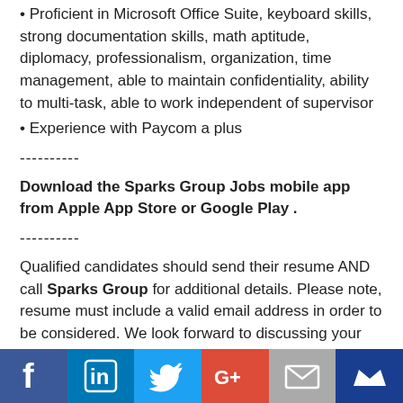• Proficient in Microsoft Office Suite, keyboard skills, strong documentation skills, math aptitude, diplomacy, professionalism, organization, time management, able to maintain confidentiality, ability to multi-task, able to work independent of supervisor
• Experience with Paycom a plus
----------
Download the Sparks Group Jobs mobile app from Apple App Store or Google Play .
----------
Qualified candidates should send their resume AND call Sparks Group for additional details. Please note, resume must include a valid email address in order to be considered. We look forward to discussing your background, your current
[Figure (infographic): Social media icon bar at bottom: Facebook (blue), LinkedIn (blue), Twitter (light blue), Google+ (red), Email/envelope (gray), Crown/premium (dark blue)]